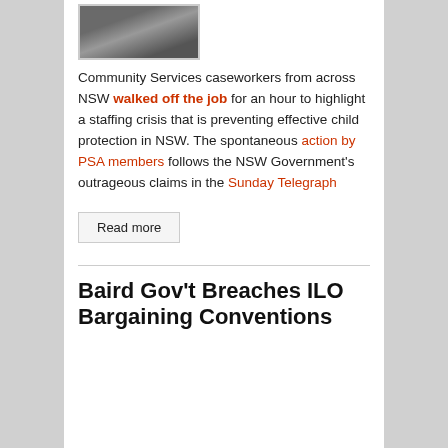[Figure (photo): Photo of community services caseworkers holding signs at a protest/walkout]
Community Services caseworkers from across NSW walked off the job for an hour to highlight a staffing crisis that is preventing effective child protection in NSW. The spontaneous action by PSA members follows the NSW Government's outrageous claims in the Sunday Telegraph
Read more
Baird Gov't Breaches ILO Bargaining Conventions